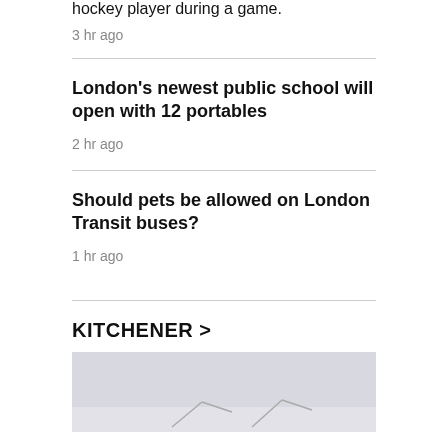hockey player during a game.
3 hr ago
London's newest public school will open with 12 portables
2 hr ago
Should pets be allowed on London Transit buses?
1 hr ago
KITCHENER >
[Figure (photo): Partially visible photo at the bottom of the page, light grey sky background with faint shapes visible]